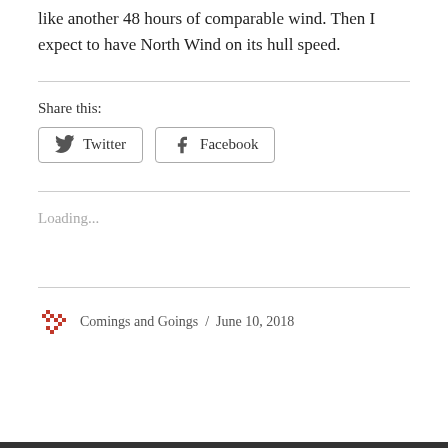like another 48 hours of comparable wind. Then I expect to have North Wind on its hull speed.
Share this:
[Figure (other): Twitter and Facebook share buttons]
Loading...
Comings and Goings / June 10, 2018